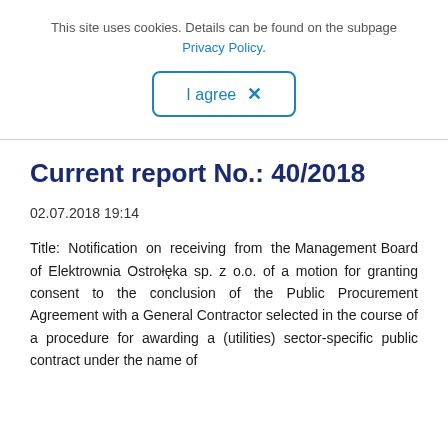This site uses cookies. Details can be found on the subpage Privacy Policy.
[Figure (other): I agree button with X mark, blue border, rounded corners]
Current report No.: 40/2018
02.07.2018 19:14
Title: Notification on receiving from the Management Board of Elektrownia Ostrołęka sp. z o.o. of a motion for granting consent to the conclusion of the Public Procurement Agreement with a General Contractor selected in the course of a procedure for awarding a (utilities) sector-specific public contract under the name of